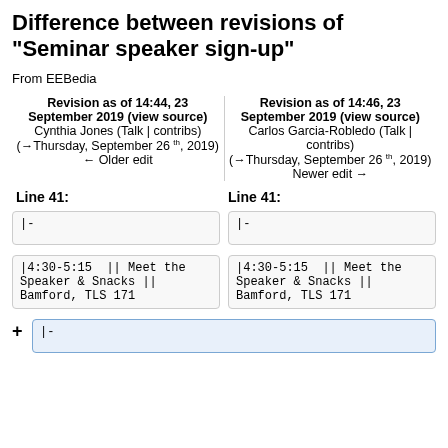Difference between revisions of "Seminar speaker sign-up"
From EEBedia
Revision as of 14:44, 23 September 2019 (view source)
Cynthia Jones (Talk | contribs)
(→Thursday, September 26 th, 2019)
← Older edit
Revision as of 14:46, 23 September 2019 (view source)
Carlos Garcia-Robledo (Talk | contribs)
(→Thursday, September 26 th, 2019)
Newer edit →
Line 41:
Line 41:
|-
|-
|4:30-5:15  || Meet the Speaker & Snacks || Bamford, TLS 171
|4:30-5:15  || Meet the Speaker & Snacks || Bamford, TLS 171
|-